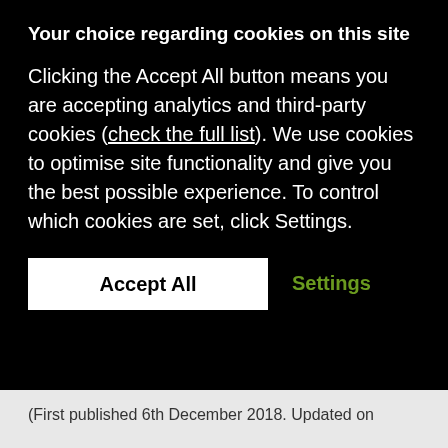Your choice regarding cookies on this site
Clicking the Accept All button means you are accepting analytics and third-party cookies (check the full list). We use cookies to optimise site functionality and give you the best possible experience. To control which cookies are set, click Settings.
Accept All   Settings
(First published 6th December 2018. Updated on